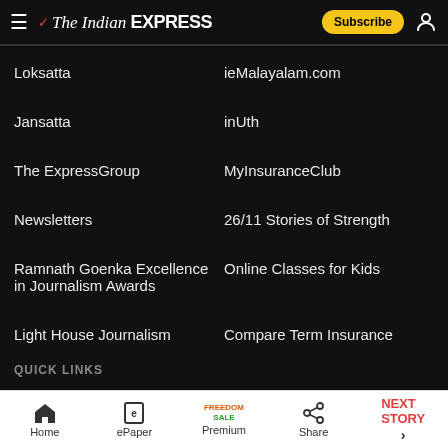The Indian EXPRESS — Subscribe
Loksatta
ieMalayalam.com
Jansatta
inUth
The ExpressGroup
MyInsuranceClub
Newsletters
26/11 Stories of Strength
Ramnath Goenka Excellence in Journalism Awards
Online Classes for Kids
Light House Journalism
Compare Term Insurance
QUICK LINKS
Home | ePaper | Premium | Share | NEXT STORY